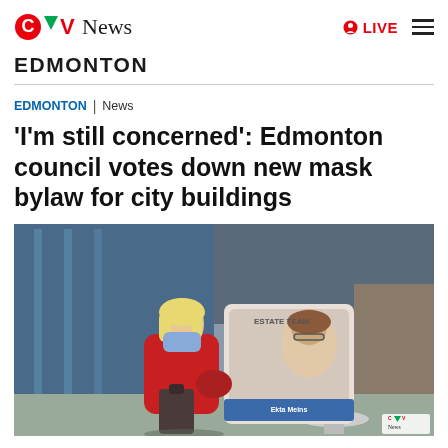CTV News EDMONTON | LIVE
EDMONTON | News
'I'm still concerned': Edmonton council votes down new mask bylaw for city buildings
[Figure (photo): A woman wearing a blue surgical mask and red hoodie sits outdoors with luggage, next to a bus shelter advertisement showing a woman's face. Text on ad reads 'ESTATE TEAM'. CTV News watermark visible in bottom right.]